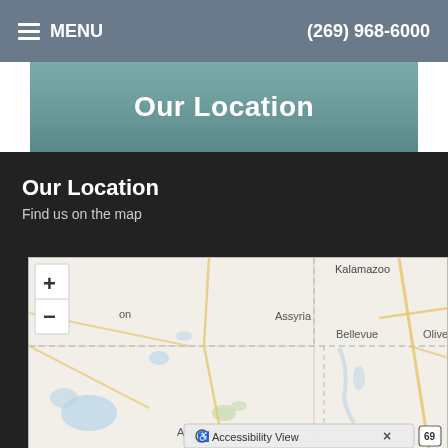MENU   (269) 968-6000
Our Location
Our Location
Find us on the map
[Figure (map): Interactive map showing Michigan area including locations: Kalamazoo, Assyria, Bellevue, Olivet, Augusta, Battle Creek area. Map has zoom in/out controls and an accessibility view bar at the bottom.]